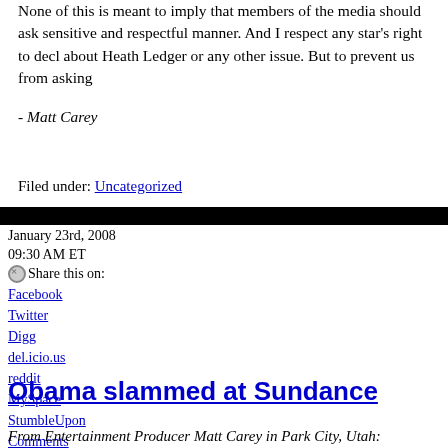None of this is meant to imply that members of the media should ask sensitive and respectful manner. And I respect any star's right to decl about Heath Ledger or any other issue. But to prevent us from asking
- Matt Carey
Filed under: Uncategorized
January 23rd, 2008
09:30 AM ET
Share this on:
Facebook
Twitter
Digg
del.icio.us
reddit
MySpace
StumbleUpon
Comments (2 comments)
Obama slammed at Sundance
From Entertainment Producer Matt Carey in Park City, Utah: